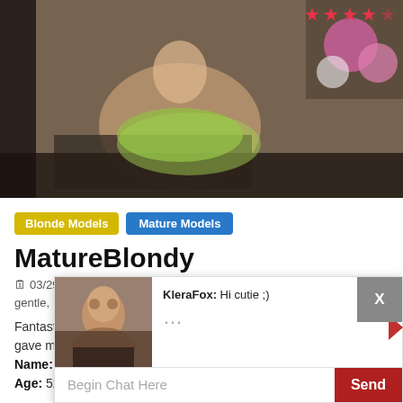[Figure (photo): Woman with short blonde hair posing on outdoor wicker furniture wearing a green garment, flowers visible in top right corner, star rating overlay in top right]
Blonde Models
Mature Models
MatureBlondy
03/29/2017  Mike  2 Comments  camera, footjob, gentle, grandma, granny, kind, Latvia, MatureBlondy, xxx
Fantastic sho gave me. Name: Matu Age: 52
[Figure (photo): Chat overlay with avatar of woman with curly brown hair, KleraFox saying Hi cutie ;), Begin Chat Here input and Send button]